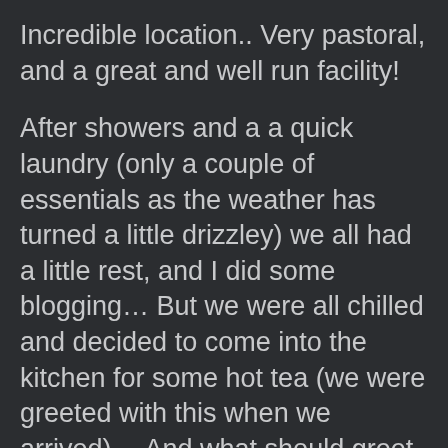Incredible location.. Very pastoral, and a great and well run facility!
After showers and a a quick laundry (only a couple of essentials as the weather has turned a little drizzley) we all had a little rest, and I did some blogging… But we were all chilled and decided to come into the kitchen for some hot tea (we were greeted with this when we arrived)… And what should greet us but a roaring fire, a warm room and a woman playing a guitar… Warms the body and soul!